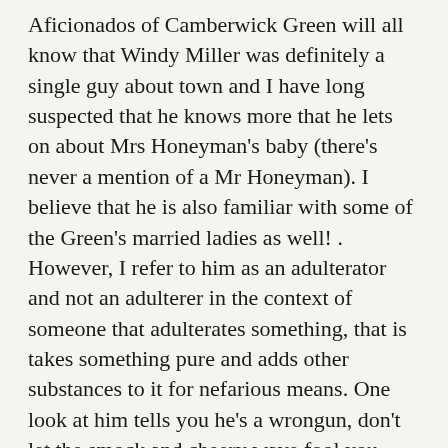Aficionados of Camberwick Green will all know that Windy Miller was definitely a single guy about town and I have long suspected that he knows more that he lets on about Mrs Honeyman's baby (there's never a mention of a Mr Honeyman). I believe that he is also familiar with some of the Green's married ladies as well! . However, I refer to him as an adulterator and not an adulterer in the context of someone that adulterates something, that is takes something pure and adds other substances to it for nefarious means. One look at him tells you he's a wrongun, don't let the smock and cheery wave fool you, he's